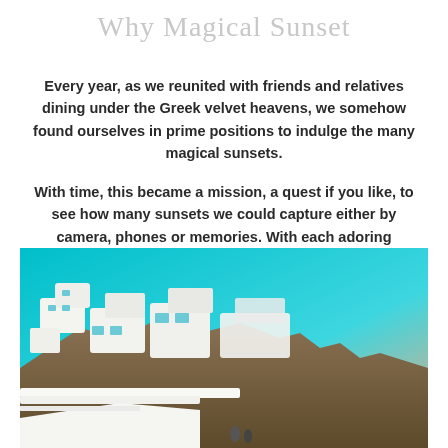Why Magical Sunset
Every year, as we reunited with friends and relatives dining under the Greek velvet heavens, we somehow found ourselves in prime positions to indulge the many magical sunsets.
With time, this became a mission, a quest if you like, to see how many sunsets we could capture either by camera, phones or memories. With each adoring sunset, a magical memory was created.
[Figure (photo): Aerial view of white Cycladic architecture buildings on a hillside in Greece with a turquoise-blue sky and sea in the background, sunset tones visible on the horizon.]